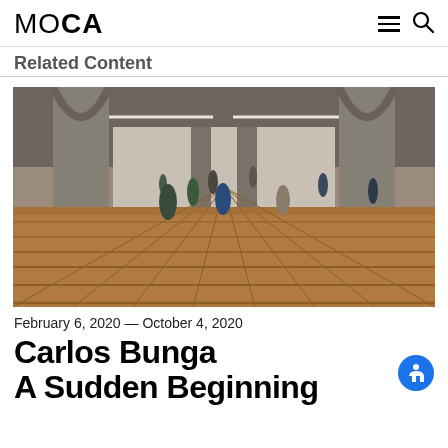MOCA
Related Content
[Figure (photo): Installation view of Carlos Bunga's 'A Sudden Beginning' at MOCA — a large industrial gallery space with concrete columns and arched ceilings, filled with a grid of cardboard box structures that visitors explore.]
February 6, 2020 — October 4, 2020
Carlos Bunga
A Sudden Beginning